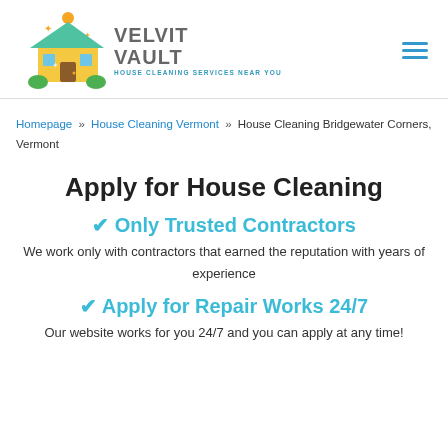[Figure (logo): Velvit Vault house cleaning services logo with illustrated house and text]
Homepage » House Cleaning Vermont » House Cleaning Bridgewater Corners, Vermont
Apply for House Cleaning
✔ Only Trusted Contractors
We work only with contractors that earned the reputation with years of experience
✔ Apply for Repair Works 24/7
Our website works for you 24/7 and you can apply at any time!